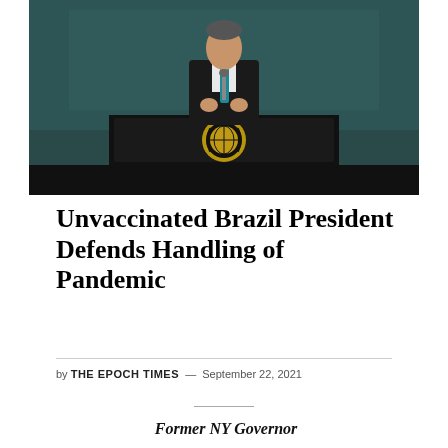[Figure (photo): A man in a dark suit with a teal/blue tie stands at a podium bearing the United Nations emblem (gold wreath and globe logo on black). The background is a dark teal UN General Assembly backdrop.]
Unvaccinated Brazil President Defends Handling of Pandemic
by THE EPOCH TIMES — September 22, 2021
Former NY Governor